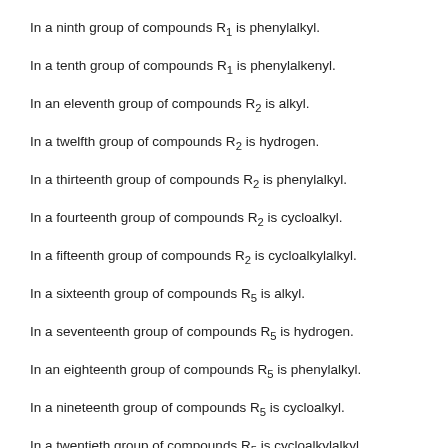In a ninth group of compounds R1 is phenylalkyl.
In a tenth group of compounds R1 is phenylalkenyl.
In an eleventh group of compounds R2 is alkyl.
In a twelfth group of compounds R2 is hydrogen.
In a thirteenth group of compounds R2 is phenylalkyl.
In a fourteenth group of compounds R2 is cycloalkyl.
In a fifteenth group of compounds R2 is cycloalkylalkyl.
In a sixteenth group of compounds R5 is alkyl.
In a seventeenth group of compounds R5 is hydrogen.
In an eighteenth group of compounds R5 is phenylalkyl.
In a nineteenth group of compounds R5 is cycloalkyl.
In a twentieth group of compounds R5 is cycloalkylalkyl.